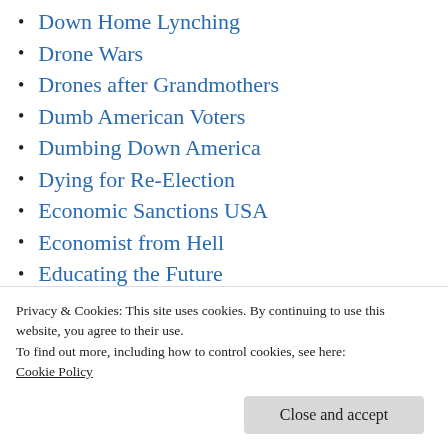Down Home Lynching
Drone Wars
Drones after Grandmothers
Dumb American Voters
Dumbing Down America
Dying for Re-Election
Economic Sanctions USA
Economist from Hell
Educating the Future
Edward Norton Lorenz
Eisenhower Right On
Elephant in Room
Privacy & Cookies: This site uses cookies. By continuing to use this website, you agree to their use.
To find out more, including how to control cookies, see here: Cookie Policy